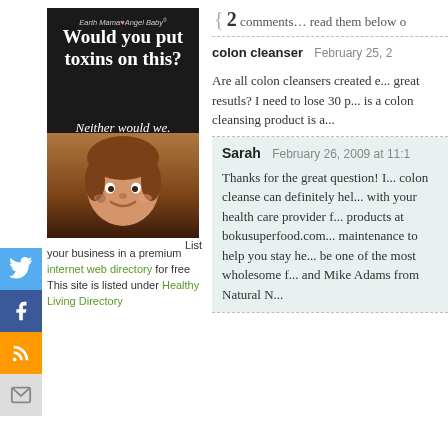[Figure (photo): Earth Mama Angel Baby advertisement showing a baby with wings and text 'Would you put toxins on this? Neither would we.']
List your business in a premium internet web directory for free This site is listed under Healthy Living Directory
{ 2 comments… read them below o
colon cleanser   February 25, 2
Are all colon cleansers created e... great resutls? I need to lose 30 p... is a colon cleansing product is a...
Sarah   February 26, 2009 at 11:1
Thanks for the great question! I... colon cleanse can definitely hel... with your health care provider f... products at bokusuperfood.com... maintenance to help you stay he... be one of the most wholesome f... and Mike Adams from Natural N...